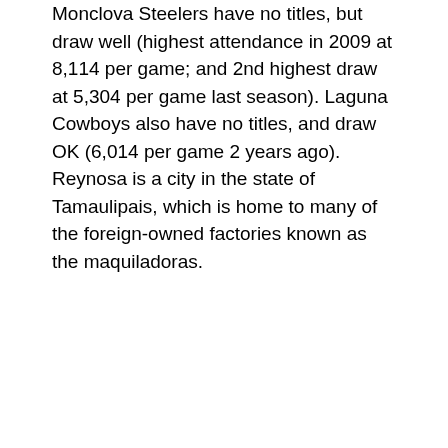Monclova Steelers have no titles, but draw well (highest attendance in 2009 at 8,114 per game; and 2nd highest draw at 5,304 per game last season). Laguna Cowboys also have no titles, and draw OK (6,014 per game 2 years ago). Reynosa is a city in the state of Tamaulipais, which is home to many of the foreign-owned factories known as the maquiladoras.